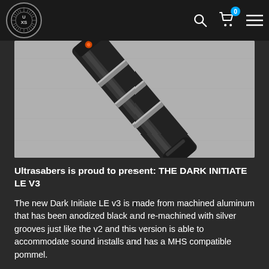[Figure (logo): UXS Ultrasabers circular logo with starburst pattern in black and white]
[Figure (photo): Close-up photo of the Dark Initiate LE V3 lightsaber hilt, black anodized aluminum with silver grooves, lying on a gray surface]
Ultrasabers is proud to present: THE DARK INITIATE LE V3
The new Dark Initiate LE v3 is made from machined aluminum that has been anodized black and re-machined with silver grooves just like the v2 and this version is able to accommodate sound installs and has a MHS compatible pommel.